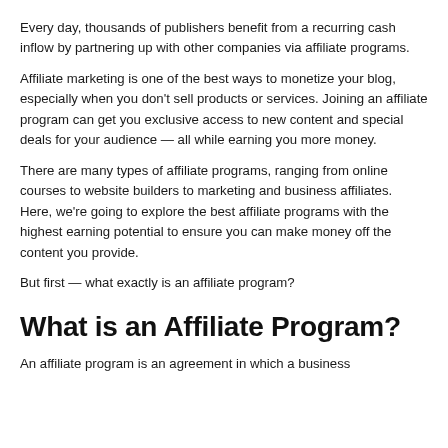Every day, thousands of publishers benefit from a recurring cash inflow by partnering up with other companies via affiliate programs.
Affiliate marketing is one of the best ways to monetize your blog, especially when you don't sell products or services. Joining an affiliate program can get you exclusive access to new content and special deals for your audience — all while earning you more money.
There are many types of affiliate programs, ranging from online courses to website builders to marketing and business affiliates. Here, we're going to explore the best affiliate programs with the highest earning potential to ensure you can make money off the content you provide.
But first — what exactly is an affiliate program?
What is an Affiliate Program?
An affiliate program is an agreement in which a business